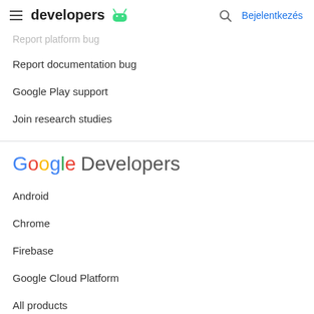developers | Bejelentkezés
Report platform bug
Report documentation bug
Google Play support
Join research studies
[Figure (logo): Google Developers logo with multicolor Google text and gray Developers text]
Android
Chrome
Firebase
Google Cloud Platform
All products